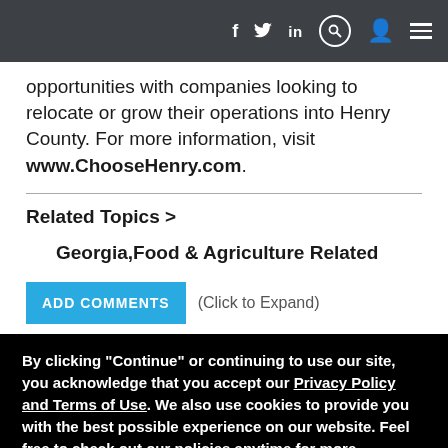f  [twitter]  in  [search]  [user]  [menu]
opportunities with companies looking to relocate or grow their operations into Henry County. For more information, visit www.ChooseHenry.com.
Related Topics >
Georgia,Food & Agriculture Related
ADD COMMENTS  (Click to Expand)
By clicking "Continue" or continuing to use our site, you acknowledge that you accept our Privacy Policy and Terms of Use. We also use cookies to provide you with the best possible experience on our website. Feel free to check out our policies anytime for more information.
Continue